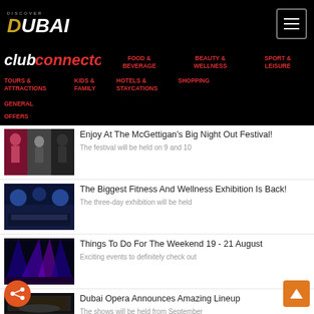DISCOVER DUBAI - Club Connector
FOOD & BEVERAGE | BEAUTY & WELLNESS | SPORT & LEISURE
TOURS & ATTRACTIONS | KIDS & FAMILY | HOTELS & STAYCATIONS | SHOPPING | GENERAL OFFERS
Enjoy At The McGettigan's Big Night Out Festival!
The festival will be held on 9 and 10
The Biggest Fitness And Wellness Exhibition Is Back!
The three-day exhibition will be held
Things To Do For The Weekend 19 - 21 August
Exciting events to definitely check out
Dubai Opera Announces Amazing Lineup
The shows will be held from September
Things To Do For The Weekend 12 - 14 August
[Figure (photo): Concert performers collage]
[Figure (photo): Fitness and wellness exhibition hall]
[Figure (photo): Colorful stage lighting]
[Figure (photo): Dubai Opera interior]
[Figure (photo): Weekend event performer]